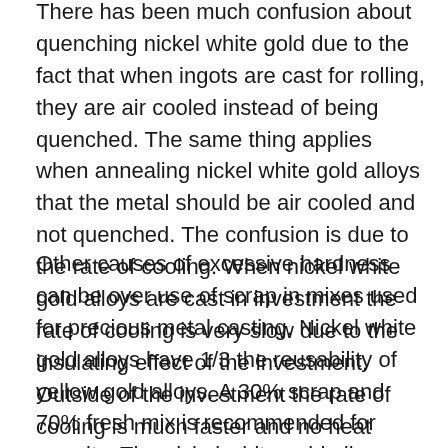There has been much confusion about quenching nickel white gold due to the fact that when ingots are cast for rolling, they are air cooled instead of being quenched. The same thing applies when annealing nickel white gold alloys that the metal should be air cooled and not quenched. The confusion is due to the rate of cooling. When nickel white gold alloys are cast in investment the rate of cooling is very slow due to the insulating effect of the investment. Outside of the investment the rate of cooling is much faster and no heat treatment effect takes place.
Other causes of excessive hardness can be over use of scrap in mixes used for precious metal casting. Nickel white gold alloys have 1/3 the reusability of yellow gold alloys. A 30% scrap and 70% fresh mix is recommended for remelts. The nickel white gold alloys can pick up carbon from the crucibles, sulfur from the investment and can oxidize easily making the metal hard, brittle and porous. If excessive defects are noticed in nickel